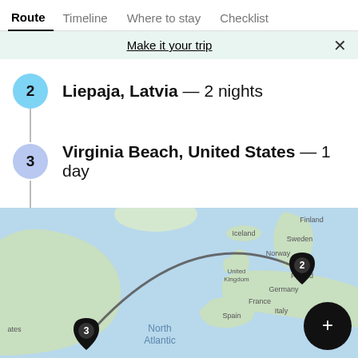Route | Timeline | Where to stay | Checklist
Make it your trip
2  Liepaja, Latvia — 2 nights
3  Virginia Beach, United States — 1 day
End: Bangkok, Thailand
[Figure (map): World map showing route arc from Virginia Beach (USA, marker 3) to Liepaja, Latvia (marker 2) with a curved arc. Labels visible: Iceland, Finland, Sweden, Norway, United Kingdom, Poland, Germany, France, Spain, Italy, Turkey, North Atlantic. Black add (+) button in lower right.]